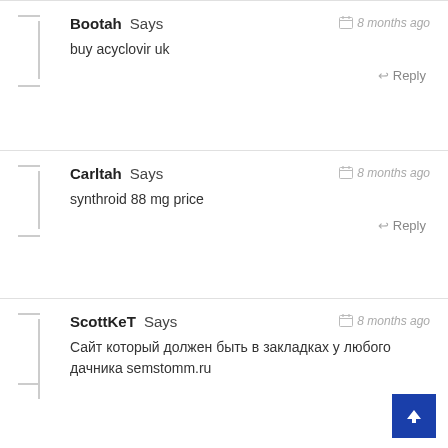Bootah Says — 8 months ago — buy acyclovir uk — Reply
Carltah Says — 8 months ago — synthroid 88 mg price — Reply
ScottKeT Says — 8 months ago — Сайт который должен быть в закладках у любого дачника semstomm.ru — Reply
LbqLEPNiJCzStrsT Says — 8 months ago — pzaGsnHKdfX